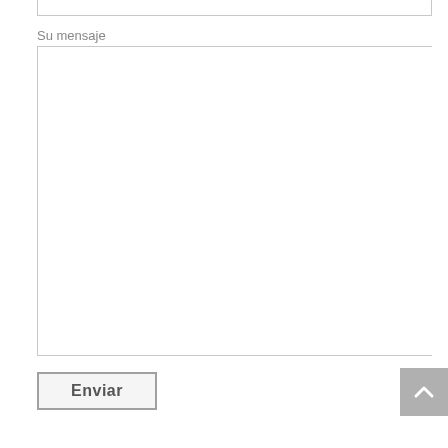Su mensaje
[Figure (screenshot): Large empty textarea input field with a light gray border]
[Figure (screenshot): Enviar (Send) button with bold text and gray border]
[Figure (screenshot): Scroll-to-top button with upward caret arrow icon, gray background, positioned at bottom right]